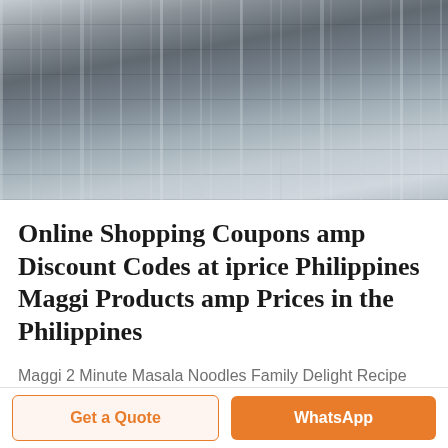[Figure (photo): Industrial machinery/factory equipment — metal cylinders, pipes and processing machines in a factory setting, grayscale tones]
Online Shopping Coupons amp Discount Codes at iprice Philippines Maggi Products amp Prices in the Philippines
Maggi 2 Minute Masala Noodles Family Delight Recipe 100 Vegetarian From India 280g Contains 4 Packs ₱ 149 00 ₱ 199 00 –25 Time N Treasure 4 9 5 Philippine Maggi Noodle 4 pack